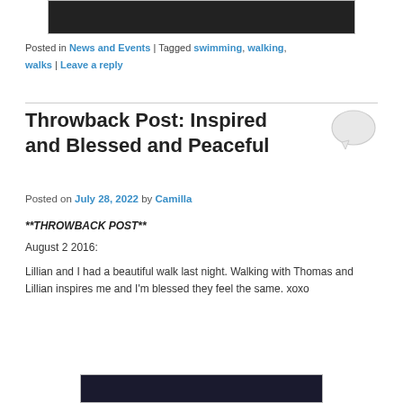[Figure (photo): Dark image at top of page, partially cropped]
Posted in News and Events | Tagged swimming, walking, walks | Leave a reply
Throwback Post: Inspired and Blessed and Peaceful
Posted on July 28, 2022 by Camilla
**THROWBACK POST**
August 2 2016:
Lillian and I had a beautiful walk last night. Walking with Thomas and Lillian inspires me and I'm blessed they feel the same. xoxo
[Figure (photo): Dark image at bottom of page, partially cropped]